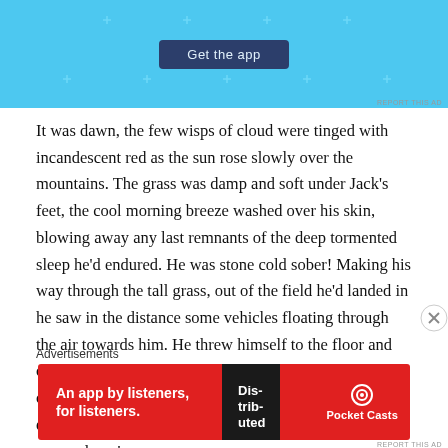[Figure (screenshot): Top banner advertisement with light blue background, showing a 'Get the app' button in dark navy, with small plus/cross decorative icons scattered around. 'REPORT THIS AD' text in small gray letters at bottom right.]
It was dawn, the few wisps of cloud were tinged with incandescent red as the sun rose slowly over the mountains. The grass was damp and soft under Jack's feet, the cool morning breeze washed over his skin, blowing away any last remnants of the deep tormented sleep he'd endured. He was stone cold sober! Making his way through the tall grass, out of the field he'd landed in he saw in the distance some vehicles floating through the air towards him. He threw himself to the floor and covered himself in as much of the vegetation as he could, if they saw his body heat they'd take him in. You don't get to walk on Mars without permits, if they find you and you're no
[Figure (screenshot): Bottom banner advertisement with red background for Pocket Casts: 'An app by listeners, for listeners.' with the Pocket Casts logo on the right and a book/phone image in the center-right area.]